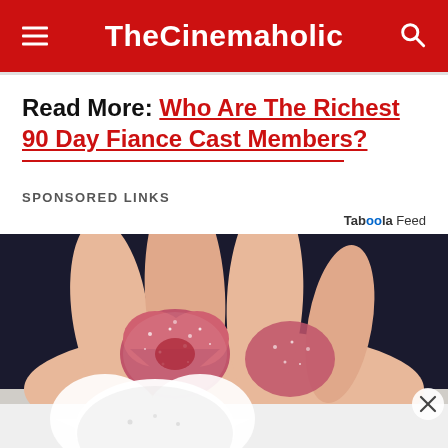TheCinemaholic
Read More: Who Are The Richest 90 Day Fiance Cast Members?
SPONSORED LINKS
Taboola Feed
[Figure (photo): Close-up photo of glittery pink/red gummy candy hearts being held in a hand against a dark background, with a partially visible white heart-shaped candy overlay at the bottom.]